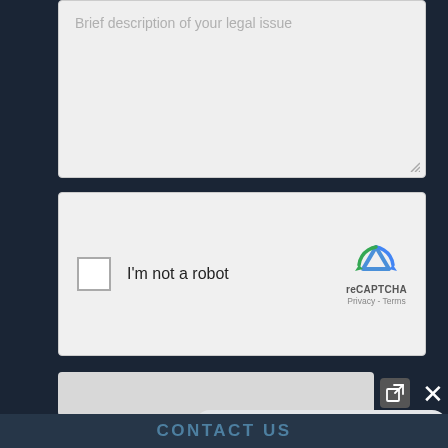[Figure (screenshot): Text area input field with placeholder text 'Brief description of your legal issue' on a dark navy background, with a resize handle in the bottom-right corner.]
[Figure (screenshot): reCAPTCHA widget showing a checkbox, 'I'm not a robot' text, the reCAPTCHA logo with Privacy and Terms links.]
[Figure (screenshot): Search input bar with external link icon and close (X) button on the right side.]
[Figure (screenshot): Chatbot popup panel with header 'How can I help you?' and three radio button options: DUI Defense, Possession of Drugs (with search icon), and Assault & Battery. A green phone button is visible at bottom left. A 'Search' label and 'CONTACT US' footer text appear at the bottom.]